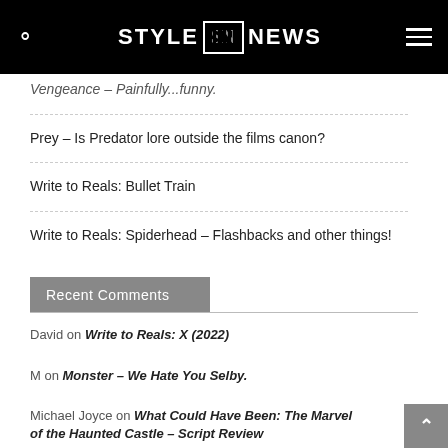STYLE SN NEWS
Vengeance – Painfully...funny.
Prey – Is Predator lore outside the films canon?
Write to Reals: Bullet Train
Write to Reals: Spiderhead – Flashbacks and other things!
Recent Comments
David on Write to Reals: X (2022)
M on Monster – We Hate You Selby.
Michael Joyce on What Could Have Been: The Marvel of the Haunted Castle – Script Review